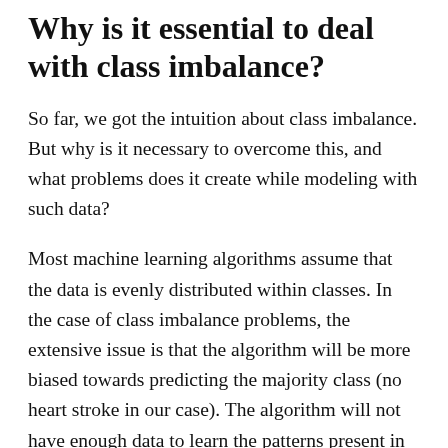Why is it essential to deal with class imbalance?
So far, we got the intuition about class imbalance. But why is it necessary to overcome this, and what problems does it create while modeling with such data?
Most machine learning algorithms assume that the data is evenly distributed within classes. In the case of class imbalance problems, the extensive issue is that the algorithm will be more biased towards predicting the majority class (no heart stroke in our case). The algorithm will not have enough data to learn the patterns present in